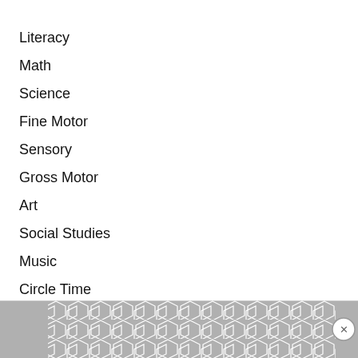Literacy
Math
Science
Fine Motor
Sensory
Gross Motor
Art
Social Studies
Music
Circle Time
Social/Emotional
[Figure (other): Advertisement banner with hexagonal geometric pattern in gray tones and a close (X) button]